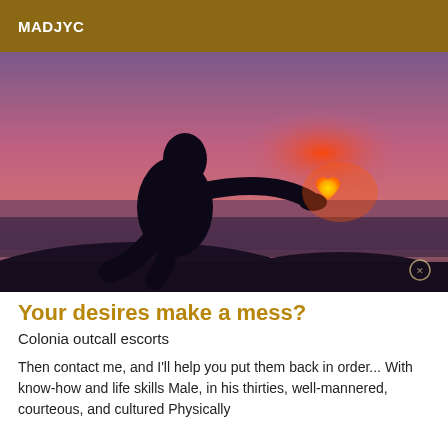MADJYC
[Figure (photo): Silhouette of a person kneeling and holding a glowing heart-shaped light against a purple-red sunset sky over water]
Your desires make a mess?
Colonia outcall escorts
Then contact me, and I'll help you put them back in order... With know-how and life skills Male, in his thirties, well-mannered, courteous, and cultured Physically